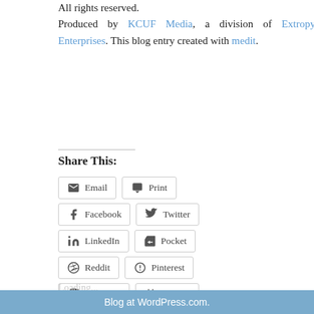All rights reserved. Produced by KCUF Media, a division of Extropy Enterprises. This blog entry created with medit.
Share This:
Email | Print | Facebook | Twitter | LinkedIn | Pocket | Reddit | Pinterest | Telegram | Tumblr | WhatsApp
Loading...
Comments Off
Older Posts »
Blog at WordPress.com.